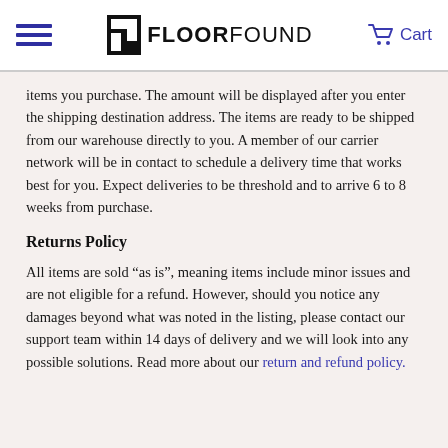FLOORFOUND — Cart
items you purchase. The amount will be displayed after you enter the shipping destination address. The items are ready to be shipped from our warehouse directly to you. A member of our carrier network will be in contact to schedule a delivery time that works best for you. Expect deliveries to be threshold and to arrive 6 to 8 weeks from purchase.
Returns Policy
All items are sold “as is”, meaning items include minor issues and are not eligible for a refund. However, should you notice any damages beyond what was noted in the listing, please contact our support team within 14 days of delivery and we will look into any possible solutions. Read more about our return and refund policy.